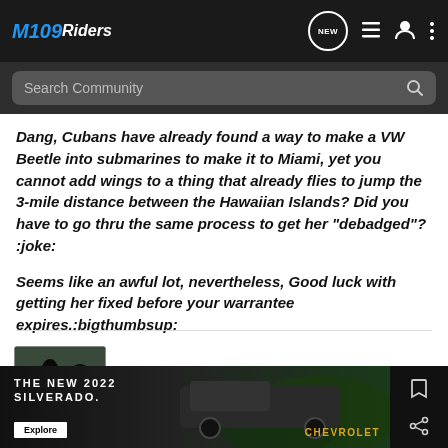M109Riders
Search Community
Dang, Cubans have already found a way to make a VW Beetle into submarines to make it to Miami, yet you cannot add wings to a thing that already flies to jump the 3-mile distance between the Hawaiian Islands? Did you have to go thru the same process to get her "debadged"? :joke:

Seems like an awful lot, nevertheless, Good luck with getting her fixed before your warrantee expires.:bigthumbsup:
[Figure (photo): User avatar thumbnail showing a motorcycle/dark vehicle scene]
[Figure (photo): Chevrolet Silverado 2022 advertisement banner showing a dark truck in nature with text THE NEW 2022 SILVERADO. Explore button and Chevrolet logo]